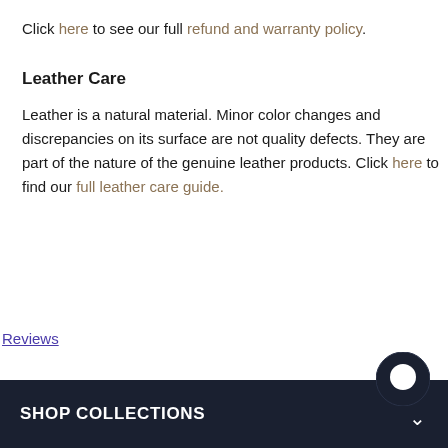Click here to see our full refund and warranty policy.
Leather Care
Leather is a natural material. Minor color changes and discrepancies on its surface are not quality defects. They are part of the nature of the genuine leather products. Click here to find our full leather care guide.
Reviews
SHOP COLLECTIONS